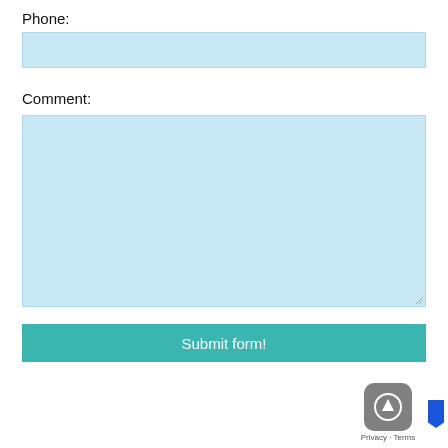Phone:
[Figure (other): Phone input field (light blue rectangle)]
Comment:
[Figure (other): Comment textarea (large light blue rectangle with resize handle)]
Submit form!
[Figure (other): Upload/back-to-top widget icon (gray rounded square with upward arrow) and Privacy - Terms text]